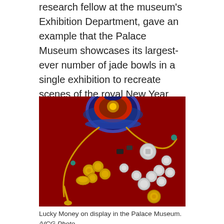research fellow at the museum's Exhibition Department, gave an example that the Palace Museum showcases its largest-ever number of jade bowls in a single exhibition to recreate scenes of the royal New Year feast.
[Figure (photo): Lucky Money items on display on a red background: a decorative embroidered pouch with blue and red design, yellow and green tasseled cords, and a collection of gold and silver coins/tokens scattered in front.]
Lucky Money on display in the Palace Museum. /VCG Photo